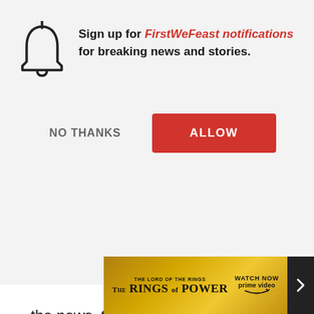[Figure (screenshot): Browser notification permission dialog with bell icon, text asking to sign up for FirstWeFeast notifications, NO THANKS and ALLOW buttons overlaid on an article page. Bottom shows a Lord of the Rings: Rings of Power Amazon Prime Video advertisement banner.]
Sign up for FirstWeFeast notifications for breaking news and stories.
NO THANKS
ALLOW
the news, the six d
the Horace and Pe
One nice thing abo
shot so close to th
C.K. can become h
Oliver's Last Week
dysfunctional alco
show
come
[Figure (screenshot): THE LORD OF THE RINGS THE RINGS OF POWER — WATCH NOW prime video advertisement banner]